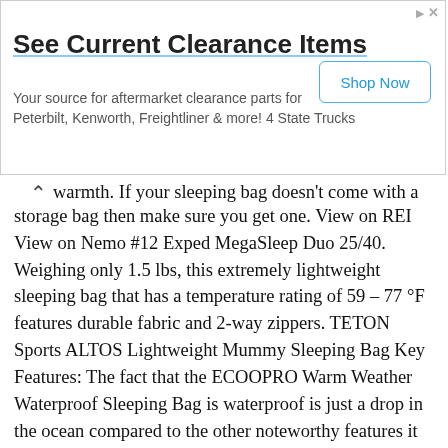[Figure (screenshot): Advertisement banner: 'See Current Clearance Items' with a 'Shop Now' button. Text reads: 'Your source for aftermarket clearance parts for Peterbilt, Kenworth, Freightliner & more! 4 State Trucks']
warmth. If your sleeping bag doesn't come with a storage bag then make sure you get one. View on REI View on Nemo #12 Exped MegaSleep Duo 25/40. Weighing only 1.5 lbs, this extremely lightweight sleeping bag that has a temperature rating of 59 – 77 °F features durable fabric and 2-way zippers. TETON Sports ALTOS Lightweight Mummy Sleeping Bag Key Features: The fact that the ECOOPRO Warm Weather Waterproof Sleeping Bag is waterproof is just a drop in the ocean compared to the other noteworthy features it has. Free postage. Not only is it lightweight and lofty, but it also provides stellar comfort thanks to its double-brushed liner and roomy foot box. We also love its oh-so-convenient bottom zip that you can open if you're feeling a bit stuffy. oaskys Lightweight Camping Sleeping Bag Key Features: We can't hide the fact that we highly rate TETON's lightweight